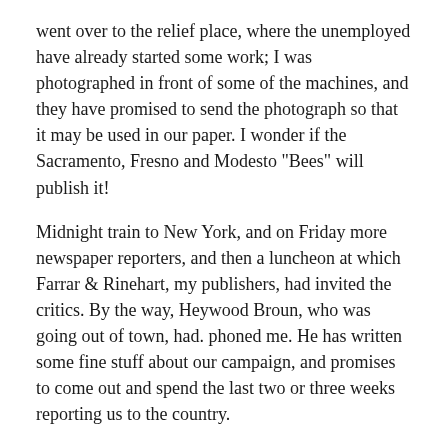went over to the relief place, where the unemployed have already started some work; I was photographed in front of some of the machines, and they have promised to send the photograph so that it may be used in our paper. I wonder if the Sacramento, Fresno and Modesto "Bees" will publish it!
Midnight train to New York, and on Friday more newspaper reporters, and then a luncheon at which Farrar & Rinehart, my publishers, had invited the critics. By the way, Heywood Broun, who was going out of town, had. phoned me. He has written some fine stuff about our campaign, and promises to come out and spend the last two or three weeks reporting us to the country.
Friday afternoon a visit from some fellows who wanted to start a caravan on the way to California to help in the Plan, but we discouraged that idea. Also a man who wants to put on a movie, and more editors who wanted articles. Also a news reel for Pathe, which will soon be on the screen all over the country. Needless to say, I talked about EPIC...